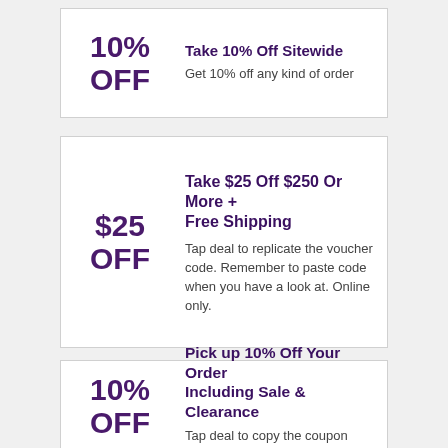10% OFF
Take 10% Off Sitewide
Get 10% off any kind of order
$25 OFF
Take $25 Off $250 Or More + Free Shipping
Tap deal to replicate the voucher code. Remember to paste code when you have a look at. Online only.
10% OFF
Pick up 10% Off Your Order Including Sale & Clearance
Tap deal to copy the coupon code.